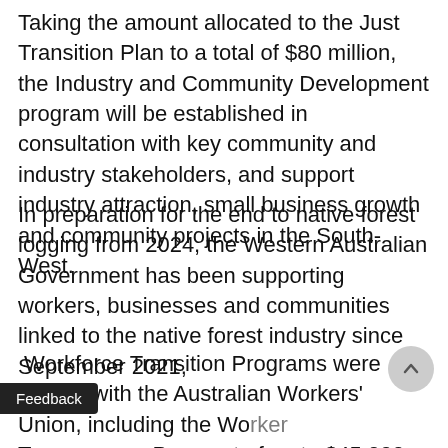Taking the amount allocated to the Just Transition Plan to a total of $80 million, the Industry and Community Development program will be established in consultation with key community and industry stakeholders, and support industry attraction, small business growth and community projects in the South-West.
In preparation for the end to native forest logging from 2024, the Western Australian Government has been supporting workers, businesses and communities linked to the native forest industry since September 2021,
Workforce Transition Programs were agreed with the Australian Workers' Union, including the Worker Transition Payment of up to $45,000 and support for retraining. Work...